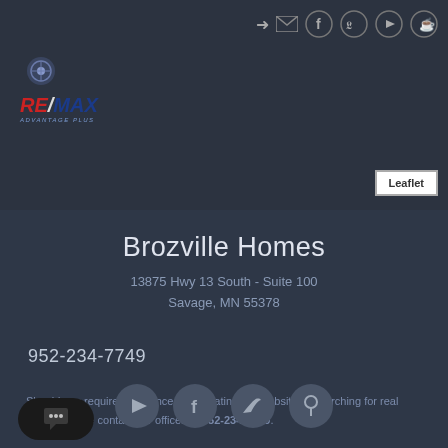[Figure (logo): RE/MAX Advantage Plus logo with circular icon above the text]
Social media icons: login, mail, Facebook, Twitter, YouTube, Pinterest
[Figure (screenshot): Leaflet map badge in upper right corner]
Brozville Homes
13875 Hwy 13 South - Suite 100
Savage, MN 55378
952-234-7749
Should you require assistance in navigating our website or searching for real estate, please contact our offices at 952-234-7749.
[Figure (infographic): Row of social media icon circles: YouTube, Facebook, Twitter, Pinterest]
[Figure (screenshot): Chat button with speech bubble icon showing ellipsis]
Mls & Blo...